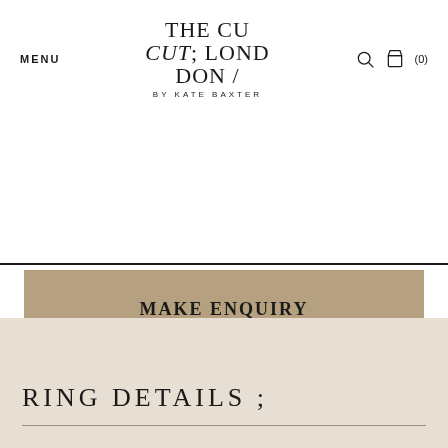MENU   THE CUT; LONDON / BY KATE BAXTER   (0)
MAKE ENQUIRY
WHATSAPP US
Delivery & Returns Policy
RING DETAILS ;